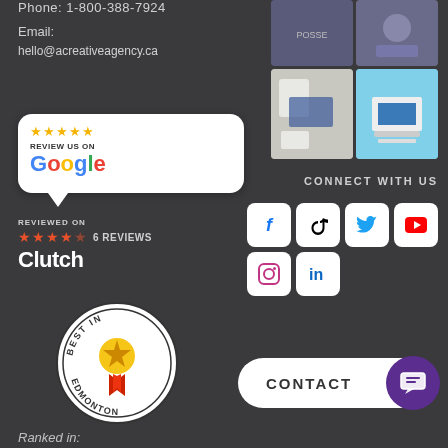Phone: 1-800-388-7924
Email:
hello@acreativeagency.ca
[Figure (other): Google Review Us bubble badge with 5 stars]
[Figure (photo): 2x2 photo grid showing branded merchandise, clothing, and website design]
REVIEWED ON
Clutch — 4.5 stars — 6 REVIEWS
CONNECT WITH US
[Figure (other): Social media icon grid: Facebook, TikTok, Twitter, YouTube, Instagram, LinkedIn]
[Figure (other): Best in Edmonton badge with ribbon and star]
[Figure (other): CONTACT button with purple chat icon circle]
Ranked in: